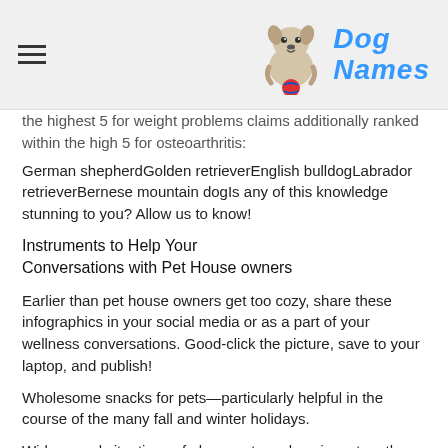Dog Names
the highest 5 for weight problems claims additionally ranked within the high 5 for osteoarthritis:
German shepherdGolden retrieverEnglish bulldogLabrador retrieverBernese mountain dogIs any of this knowledge stunning to you? Allow us to know!
Instruments to Help Your Conversations with Pet House owners
Earlier than pet house owners get too cozy, share these infographics in your social media or as a part of your wellness conversations. Good-click the picture, save to your laptop, and publish!
Wholesome snacks for pets—particularly helpful in the course of the many fall and winter holidays.
Widespread situations of obese cats and canines, together with common annual prices.